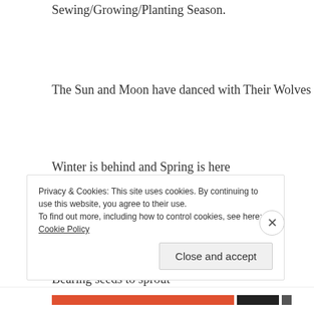Sewing/Growing/Planting Season.
The Sun and Moon have danced with Their Wolves
Winter is behind and Spring is here
Let the Earth wake and warm
Bearing seeds to sprout
The land has awakened this season and cannot
Privacy & Cookies: This site uses cookies. By continuing to use this website, you agree to their use.
To find out more, including how to control cookies, see here: Cookie Policy
Close and accept